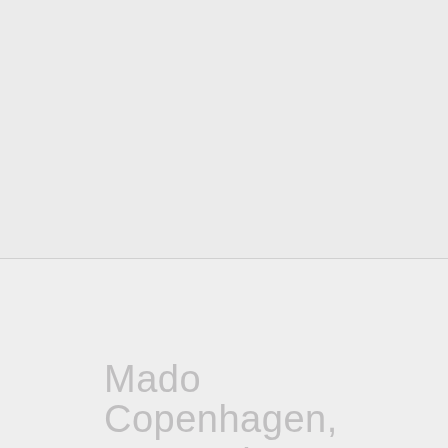[Figure (photo): Top half of the page: a large light grey image placeholder area above a horizontal dividing line, with a slightly lighter grey region below.]
Mado
Copenhagen, Denmark